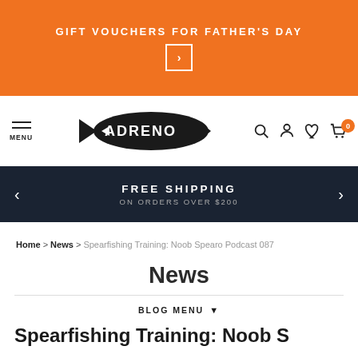GIFT VOUCHERS FOR FATHER'S DAY
[Figure (logo): ADRENO fish logo in black]
FREE SHIPPING ON ORDERS OVER $200
Home > News > Spearfishing Training: Noob Spearo Podcast 087
News
BLOG MENU
Spearfishing Training: Noob S...